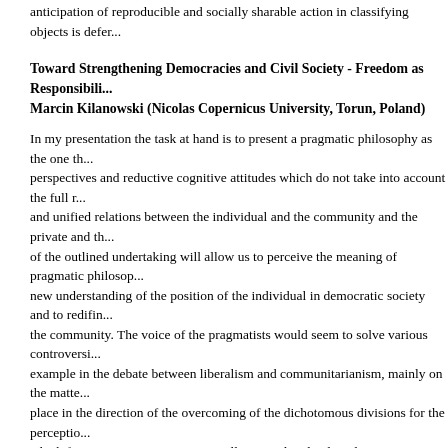anticipation of reproducible and socially sharable action in classifying objects is defer...
Toward Strengthening Democracies and Civil Society - Freedom as Responsibility
Marcin Kilanowski (Nicolas Copernicus University, Torun, Poland)
In my presentation the task at hand is to present a pragmatic philosophy as the one th... perspectives and reductive cognitive attitudes which do not take into account the full r... and unified relations between the individual and the community and the private and th... of the outlined undertaking will allow us to perceive the meaning of pragmatic philosop... new understanding of the position of the individual in democratic society and to redifin... the community. The voice of the pragmatists would seem to solve various controversie... example in the debate between liberalism and communitarianism, mainly on the matte... place in the direction of the overcoming of the dichotomous divisions for the perceptio... which feature in our cognition, as well as social and political interactions. By taking su... perspective under the consideration we can also draw a new understanding of the no... as responsibility, which can be of enormous importance for the formation and develop... today. We can say that the goal standing in front of us and democracies around the w... participation, public deliberation and the development of civil society based on liberal ... pragmatic notion of freedom as responsibility. Such notion should be taken into accou... social and political changes.
When Where and How Did Rorty Misunderstand Peirce?
Erkki Kilpinen (SCASS & University of Helsinki)
It is widely known that particularly toward the end of his philosophical career Richard R... pragmatist movement, did not have a high opinion about the views of the movement's... but called him nonchalantly "just another Kantian" and so. This has aroused ire among...